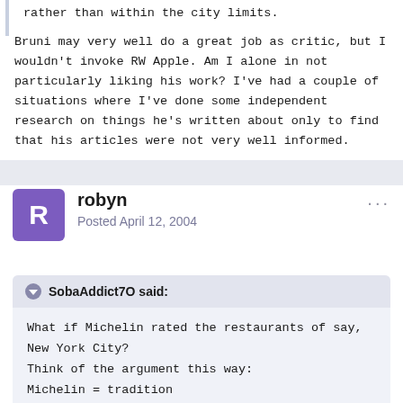rather than within the city limits.
Bruni may very well do a great job as critic, but I wouldn't invoke RW Apple. Am I alone in not particularly liking his work? I've had a couple of situations where I've done some independent research on things he's written about only to find that his articles were not very well informed.
robyn
Posted April 12, 2004
SobaAddict7O said:
What if Michelin rated the restaurants of say, New York City?
Think of the argument this way:
Michelin = tradition
NY Times = innovation
Soba